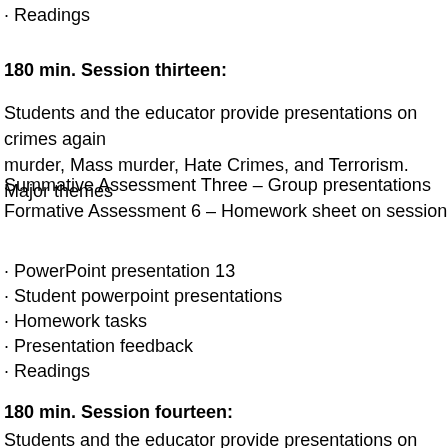· Readings
180 min. Session thirteen:
Students and the educator provide presentations on crimes again... murder, Mass murder, Hate Crimes, and Terrorism. Major themes...
Summative Assessment Three – Group presentations
Formative Assessment 6 – Homework sheet on session
· PowerPoint presentation 13
· Student powerpoint presentations
· Homework tasks
· Presentation feedback
· Readings
180 min. Session fourteen:
Students and the educator provide presentations on crimes again... forgery, credit card and con games). Burglary, Robbery and Theft...